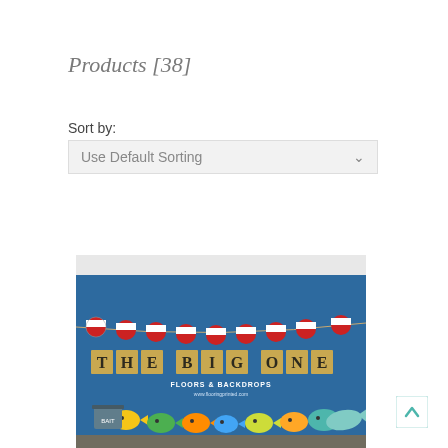Products [38]
Sort by:
Use Default Sorting
[Figure (photo): A party decoration photo showing a blue background with a burlap banner spelling 'THE BIG ONE', fishing bobber garland, and colorful fish cutouts. Text overlay reads 'FLOORS & BACKDROPS'.]